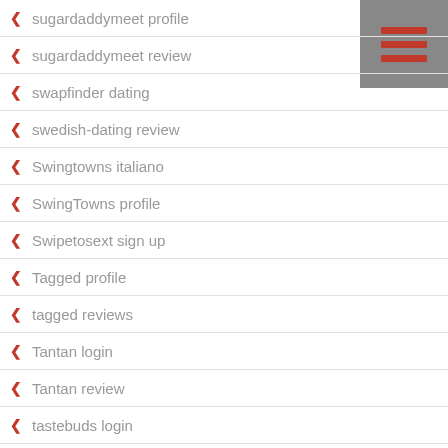[Figure (other): Hamburger menu icon — three horizontal red bars on a grey square background, positioned in the top-right corner]
sugardaddymeet profile
sugardaddymeet review
swapfinder dating
swedish-dating review
Swingtowns italiano
SwingTowns profile
Swipetosext sign up
Tagged profile
tagged reviews
Tantan login
Tantan review
tastebuds login